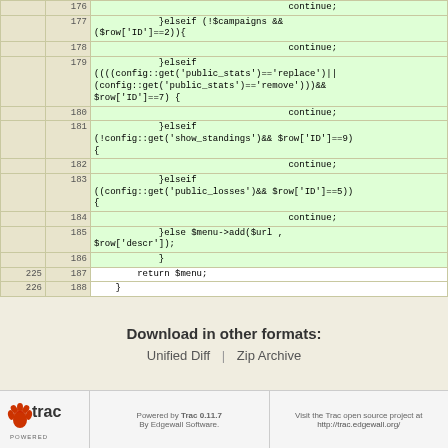[Figure (screenshot): Code diff table showing PHP code lines 176-188 with line numbers. Lines 176-186 have green background (additions). Lines 187-188 have white background. Code includes continue statements, elseif conditions checking config::get for public_stats, show_standings, public_losses, and a final else statement adding to menu.]
Download in other formats:
Unified Diff | Zip Archive
Powered by Trac 0.11.7 By Edgewall Software. Visit the Trac open source project at http://trac.edgewall.org/